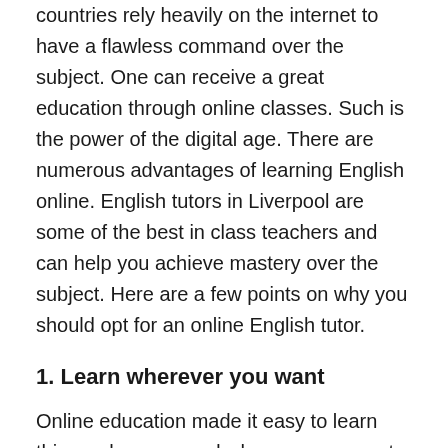countries rely heavily on the internet to have a flawless command over the subject. One can receive a great education through online classes. Such is the power of the digital age. There are numerous advantages of learning English online. English tutors in Liverpool are some of the best in class teachers and can help you achieve mastery over the subject. Here are a few points on why you should opt for an online English tutor.
1. Learn wherever you want
Online education made it easy to learn things whenever and wherever you want. Location is not a constraint anymore. You can meet a great number of students through the platform's online communities. This helps students to learn a lot of